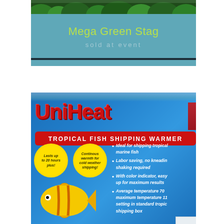[Figure (photo): Coral reef / green coral photo at top of page behind teal banner]
Mega Green Stag
sold at event
[Figure (photo): UniHeat Tropical Fish Shipping Warmer product package. Blue background with red bold UniHeat logo, red banner reading TROPICAL FISH SHIPPING WARMER, two yellow circles: one saying Lasts up to 20 hours plus!, another saying Continous warmth for cold weather shipping!. Bullet points: Ideal for shipping tropical marine fish; Labor saving, no kneading shaking required; With color indicator, easy up for maximum results; Average temperature 70 maximum temperature 11 setting in standard tropic shipping box.]